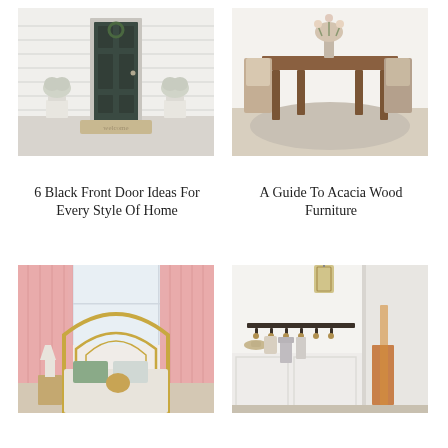[Figure (photo): House exterior with black front door, white siding, white potted plants on either side, welcome mat]
[Figure (photo): Dining room with wooden table, chairs with fur accents, vase of flowers, grey shag rug]
6 Black Front Door Ideas For Every Style Of Home
A Guide To Acacia Wood Furniture
[Figure (photo): Bedroom with pink curtains, gold arched bed frame, green pillow accents, side table with lamp]
[Figure (photo): White entryway hallway with wall-mounted hook rack holding hats and bags, gold lantern pendant light]